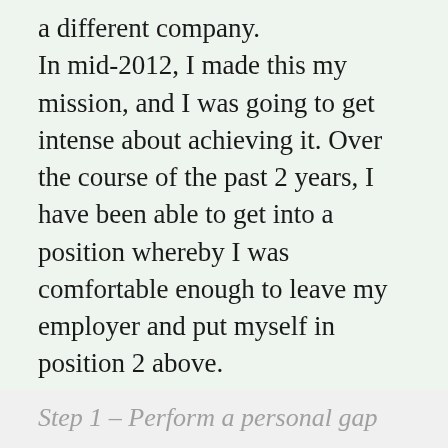a different company. In mid-2012, I made this my mission, and I was going to get intense about achieving it. Over the course of the past 2 years, I have been able to get into a position whereby I was comfortable enough to leave my employer and put myself in position 2 above.

How did I do this? Breaking it down methodically, I followed these steps:
Step 1 – Perform a personal gap